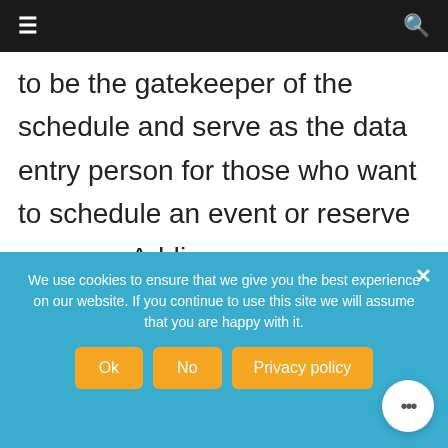≡   🔍
to be the gatekeeper of the schedule and serve as the data entry person for those who want to schedule an event or reserve a space. Adding more users can also cost more which can limit the effectiveness of a software application. Therefore, knowing how many seats you need out the gate will influence your
We use cookies to ensure that we give you the best experience on our website. If you continue to use this site we will assume that you are happy with it.
Ok  No  Privacy policy